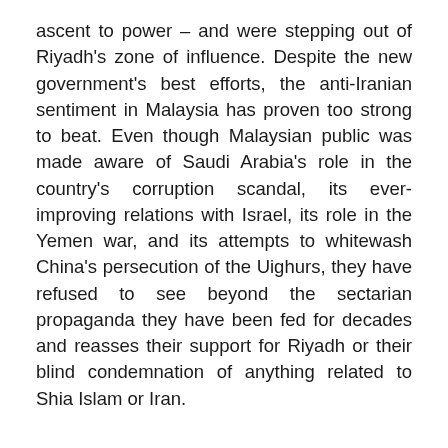ascent to power – and were stepping out of Riyadh's zone of influence. Despite the new government's best efforts, the anti-Iranian sentiment in Malaysia has proven too strong to beat. Even though Malaysian public was made aware of Saudi Arabia's role in the country's corruption scandal, its ever-improving relations with Israel, its role in the Yemen war, and its attempts to whitewash China's persecution of the Uighurs, they have refused to see beyond the sectarian propaganda they have been fed for decades and reasses their support for Riyadh or their blind condemnation of anything related to Shia Islam or Iran.
Efforts to address sectarianism in the country repeatedly fell on deaf ears, and at times even faced threats of violence. On July 10, for example, a seminar on sectarianism organised by the International Institute of Advanced Islamic Studies, a Kuala Lumpur-based think-tank, was called off over a bomb